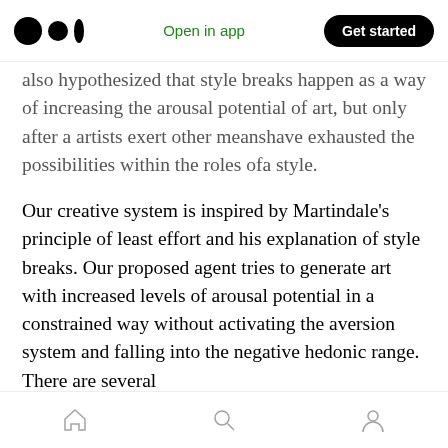Open in app | Get started
also hypothesized that style breaks happen as a way of increasing the arousal potential of art, but only after a artists exert other meanshave exhausted the possibilities within the roles ofa style.
Our creative system is inspired by Martindale's principle of least effort and his explanation of style breaks. Our proposed agent tries to generate art with increased levels of arousal potential in a constrained way without activating the aversion system and falling into the negative hedonic range. There are several
Home | Search | Profile